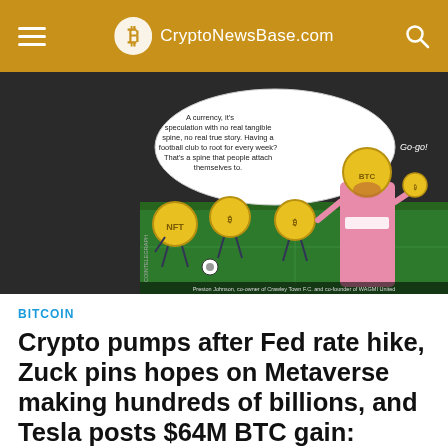CryptoNewsBase.com
[Figure (illustration): Cartoon illustration from Cointelegraph showing NFT coin characters playing soccer on a field, with a speech bubble reading: 'A currency, it's speculation with no real tangible spine, no real true story. Having a football club to root for every week? That's a spine that people attach themselves to.' A bearded man in a pink shirt with a towel holds a golden coin. Caption: Preston Johnson, co-owner of Crawley Town F.C. and co-founder of WAGMI United. Text 'Go-go!' appears in the image.]
BITCOIN
Crypto pumps after Fed rate hike, Zuck pins hopes on Metaverse making hundreds of billions, and Tesla posts $64M BTC gain: Hodler's Digest Jan 24–30